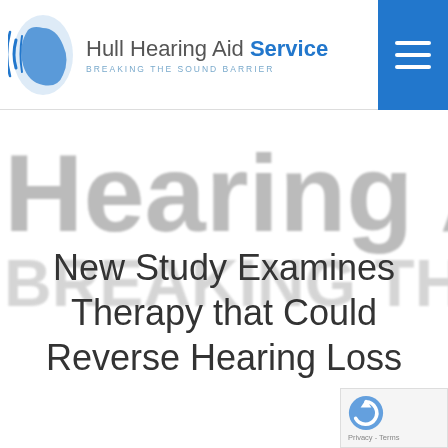Hull Hearing Aid Service — BREAKING THE SOUND BARRIER
[Figure (logo): Hull Hearing Aid Service logo with ear/hand icon and tagline BREAKING THE SOUND BARRIER]
[Figure (screenshot): Large blurred background text reading 'Hearing Aid' and partial subtitle text]
New Study Examines Therapy that Could Reverse Hearing Loss